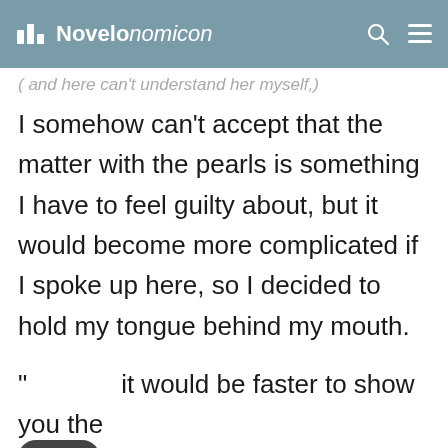Novelonomicon
( and here can't understand her myself,)
I somehow can't accept that the matter with the pearls is something I have to feel guilty about, but it would become more complicated if I spoke up here, so I decided to hold my tongue behind my mouth.
“it would be faster to show you the articles we would like you to accept first.”